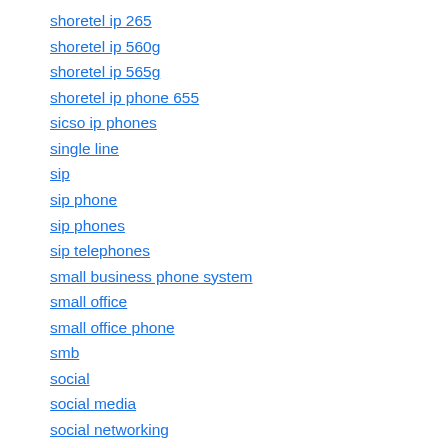shoretel ip 265
shoretel ip 560g
shoretel ip 565g
shoretel ip phone 655
sicso ip phones
single line
sip
sip phone
sip phones
sip telephones
small business phone system
small office
small office phone
smb
social
social media
social networking
softphone platform
softswitch